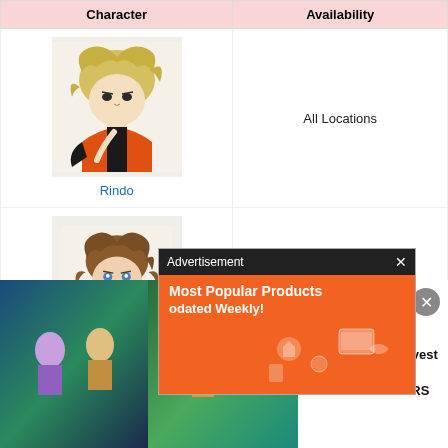| Character | Availability |
| --- | --- |
| Rindo | All Locations |
| Fr[eret?] | ...ations |
[Figure (illustration): Advertisement popup overlay with orange background showing 'Most Popular Products Updated Weekly!' with shopping icons]
[Figure (screenshot): Bottom banner advertisement showing Echoes of Mana game characters and text 'Echoes of Mana - Best Tutorial Harvest Ally Characters – SAMURAI GAMERS']